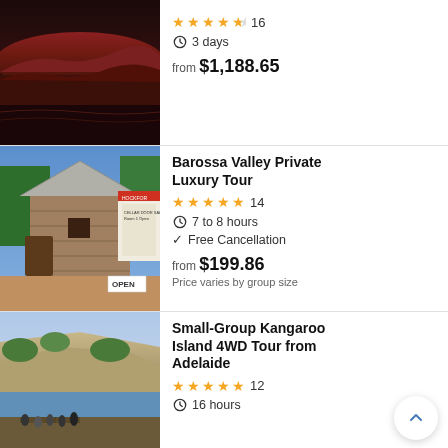[Figure (photo): Red-lit desert rock formation, Uluru-style landscape at dusk]
★★★★½ 16
⏱ 3 days
from $1,188.65
[Figure (photo): Stone building in Barossa Valley with OPEN sign and winery signage]
Barossa Valley Private Luxury Tour
★★★★★ 14
⏱ 7 to 8 hours
✓ Free Cancellation
from $199.86
Price varies by group size
[Figure (photo): Kangaroo Island coastal landscape with group of tourists]
Small-Group Kangaroo Island 4WD Tour from Adelaide
★★★★★ 12
⏱ 16 hours